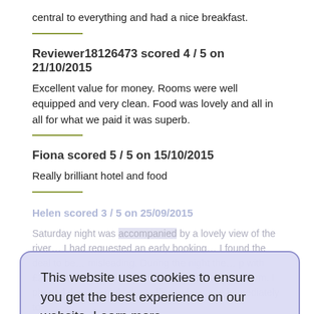central to everything and had a nice breakfast.
Reviewer18126473 scored 4 / 5 on 21/10/2015
Excellent value for money. Rooms were well equipped and very clean. Food was lovely and all in all for what we paid it was superb.
Fiona scored 5 / 5 on 15/10/2015
Really brilliant hotel and food
This website uses cookies to ensure you get the best experience on our website. Learn more
Got it!